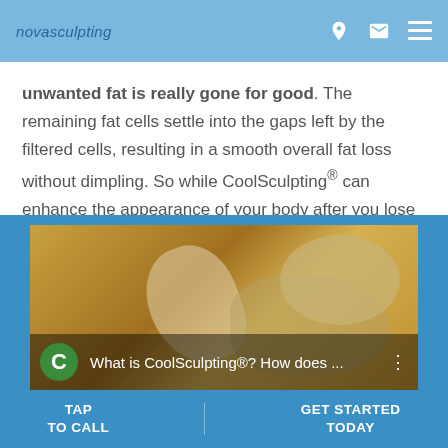novasculpting
unwanted fat is really gone for good. The remaining fat cells settle into the gaps left by the filtered cells, resulting in a smooth overall fat loss without dimpling. So while CoolSculpting® can enhance the appearance of your body after you lose weight, it's important that you be within 30 pounds of your ideal weight before receiving CoolSculpting®.
[Figure (screenshot): Video thumbnail showing CoolSculpting promotional video with title 'What is CoolSculpting®? How does ...' overlaid on abstract yellow/gold background with a green C icon]
TAP TO CALL    GET STARTED TODAY